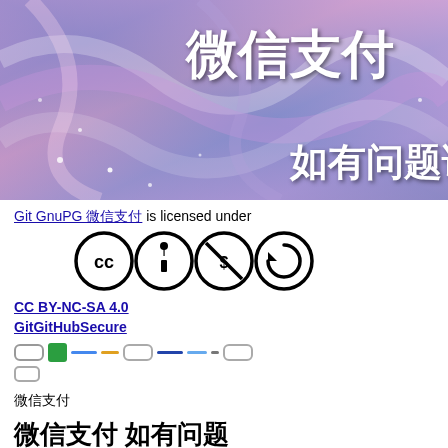[Figure (illustration): Colorful iridescent swirly background banner with Chinese text '微信支付' at top and '如有问题请' at bottom right in white bold font with sparkle decorations]
Git GnuPG 微信支付 is licensed under
[Figure (logo): Four Creative Commons license icons in a row: CC (Creative Commons), BY (Attribution person), NC (No Commercial dollar sign), SA (Share-Alike circular arrow)]
CC BY-NC-SA 4.0
GitGitHubSecure
[Figure (infographic): Navigation/pagination bar with pills, active green square, dashes in blue, yellow, grey, dark blue, light blue, dot-grey colors]
□
微信支付
微信支付 如有问题
미입력